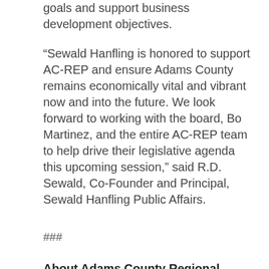goals and support business development objectives.
“Sewald Hanfling is honored to support AC-REP and ensure Adams County remains economically vital and vibrant now and into the future. We look forward to working with the board, Bo Martinez, and the entire AC-REP team to help drive their legislative agenda this upcoming session,” said R.D. Sewald, Co-Founder and Principal, Sewald Hanfling Public Affairs.
###
About Adams County Regional Economic Partnership